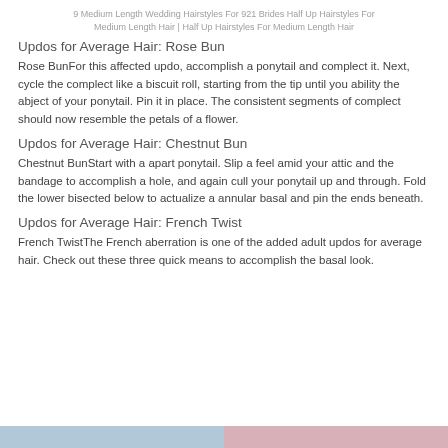9 Medium Length Wedding Hairstyles For 921 Brides Half Up Hairstyles For Medium Length Hair | Half Up Hairstyles For Medium Length Hair
Updos for Average Hair: Rose Bun
Rose BunFor this affected updo, accomplish a ponytail and complect it. Next, cycle the complect like a biscuit roll, starting from the tip until you ability the abject of your ponytail. Pin it in place. The consistent segments of complect should now resemble the petals of a flower.
Updos for Average Hair: Chestnut Bun
Chestnut BunStart with a apart ponytail. Slip a feel amid your attic and the bandage to accomplish a hole, and again cull your ponytail up and through. Fold the lower bisected below to actualize a annular basal and pin the ends beneath.
Updos for Average Hair: French Twist
French TwistThe French aberration is one of the added adult updos for average hair. Check out these three quick means to accomplish the basal look.
[Figure (other): Two colored bars at the bottom: left bar is blue-gray, right bar is pink-mauve]